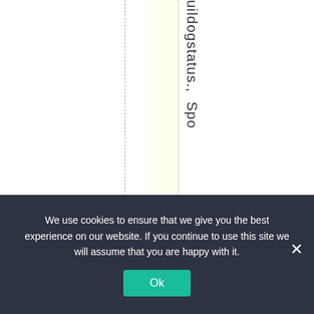[Figure (screenshot): A webpage layout fragment showing vertical dashed guide lines, a yellow highlighted column, and rotated text reading 'uildogstatus., Spo' along a vertical axis. The bottom portion is overlaid by a cookie consent banner.]
We use cookies to ensure that we give you the best experience on our website. If you continue to use this site we will assume that you are happy with it.